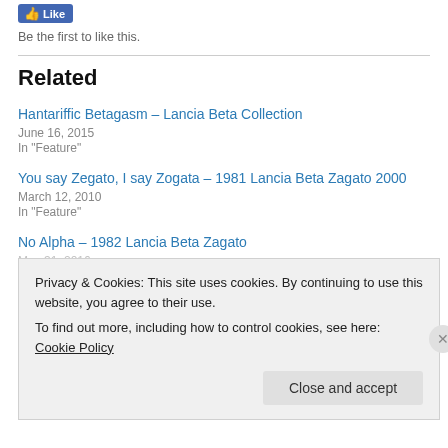Be the first to like this.
Related
Hantariffic Betagasm – Lancia Beta Collection
June 16, 2015
In "Feature"
You say Zegato, I say Zogata – 1981 Lancia Beta Zagato 2000
March 12, 2010
In "Feature"
No Alpha – 1982 Lancia Beta Zagato
May 31, 2016
Privacy & Cookies: This site uses cookies. By continuing to use this website, you agree to their use.
To find out more, including how to control cookies, see here: Cookie Policy